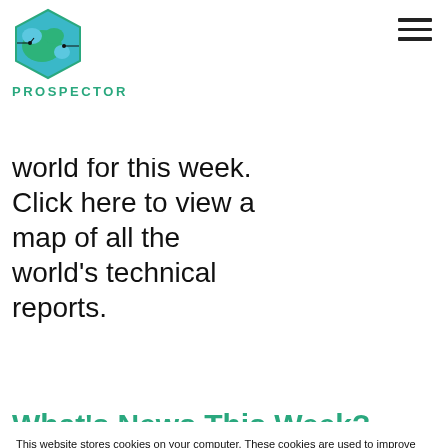[Figure (logo): Prospector logo: a blue-green hexagon with circuit/map imagery]
PROSPECTOR
world for this week. Click here to view a map of all the world's technical reports.
What's News This Week?
This website stores cookies on your computer. These cookies are used to improve your website experience and provide more personalized services to you, both on this website and through other media. To find out more about the cookies we use, see our Privacy Policy.
We won't track your information when you visit our site. But in order to comply with your preferences, we'll have to use just one tiny cookie so that you're not asked to make this choice again.
Accept
Decline